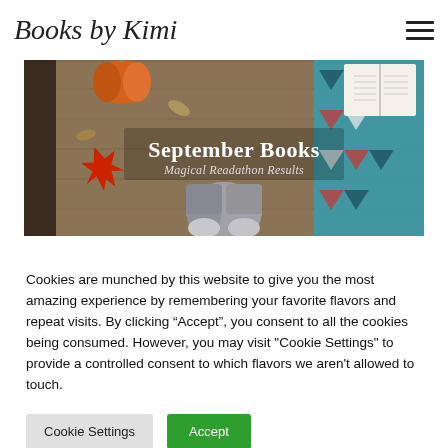Books by Kimi
[Figure (photo): Hero image showing an autumn/fall scene from above: a wooden floor with a red maple leaf, a pumpkin, some dried leaves, a person's feet in grey wool socks, an open book, and a teal blanket with geometric patterns. Overlaid text reads 'September Books' and 'Magical Readathon Results' in white serif font.]
Cookies are munched by this website to give you the most amazing experience by remembering your favorite flavors and repeat visits. By clicking “Accept”, you consent to all the cookies being consumed. However, you may visit "Cookie Settings" to provide a controlled consent to which flavors we aren't allowed to touch.